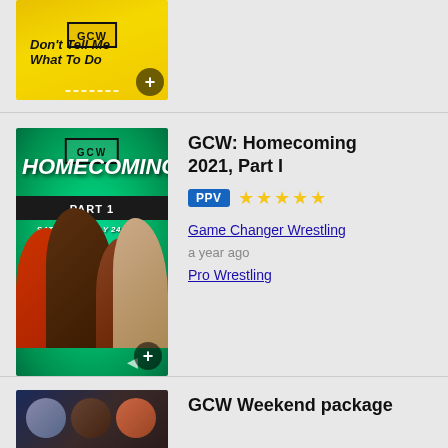[Figure (screenshot): GCW Don't Tell Me What To Do promotional thumbnail - yellow background with two people and GCW logo with text overlay]
[Figure (screenshot): GCW Homecoming Part 1 promotional thumbnail - teal/green background with wrestlers and event text: SATURDAY JULY 24 - 8PM]
GCW: Homecoming 2021, Part I
PPV ★★★★★
Game Changer Wrestling
a year ago
Pro Wrestling
[Figure (screenshot): GCW Weekend package promotional thumbnail - dark background with wrestlers]
GCW Weekend package